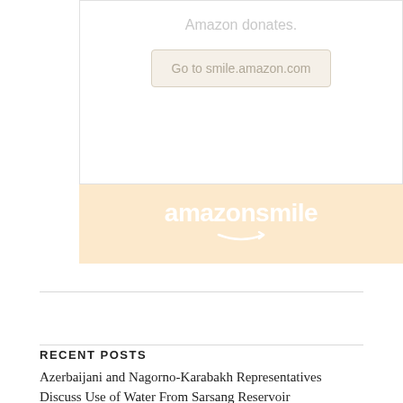[Figure (other): Amazon Smile promotional box showing 'Amazon donates.' text, a 'Go to smile.amazon.com' button, and an amazonsmile logo banner on an orange/cream background]
RECENT POSTS
Azerbaijani and Nagorno-Karabakh Representatives Discuss Use of Water From Sarsang Reservoir
Armenian, French FMs Discuss Karabakh Conflict and